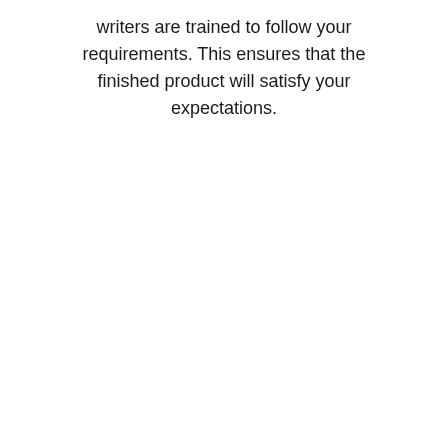writers are trained to follow your requirements. This ensures that the finished product will satisfy your expectations.